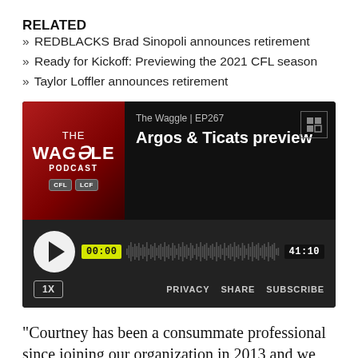RELATED
» REDBLACKS Brad Sinopoli announces retirement
» Ready for Kickoff: Previewing the 2021 CFL season
» Taylor Loffler announces retirement
[Figure (screenshot): Podcast embed player for 'The Waggle Podcast' Episode 267: 'Argos & Ticats preview'. Shows podcast artwork with red background and 'THE WAGGLE PODCAST' text with CFL/LCF badges, episode info, waveform, play button, time stamps 00:00 and 41:10, playback speed 1X, and PRIVACY SHARE SUBSCRIBE links.]
“Courtney has been a consummate professional since joining our organization in 2013 and we were fortunate to have him,” said Orlondo Steinauer, Head Coach of the Tiger-Cats. “He was a great competitor who was